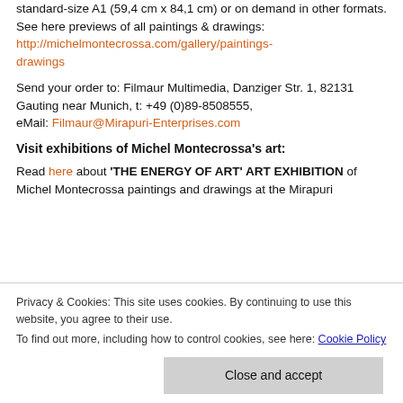standard-size A1 (59,4 cm x 84,1 cm) or on demand in other formats. See here previews of all paintings & drawings: http://michelmontecrossa.com/gallery/paintings-drawings
Send your order to: Filmaur Multimedia, Danziger Str. 1, 82131 Gauting near Munich, t: +49 (0)89-8508555, eMail: Filmaur@Mirapuri-Enterprises.com
Visit exhibitions of Michel Montecrossa's art:
Read here about 'THE ENERGY OF ART' ART EXHIBITION of Michel Montecrossa paintings and drawings at the Mirapuri
Privacy & Cookies: This site uses cookies. By continuing to use this website, you agree to their use.
To find out more, including how to control cookies, see here: Cookie Policy
Close and accept